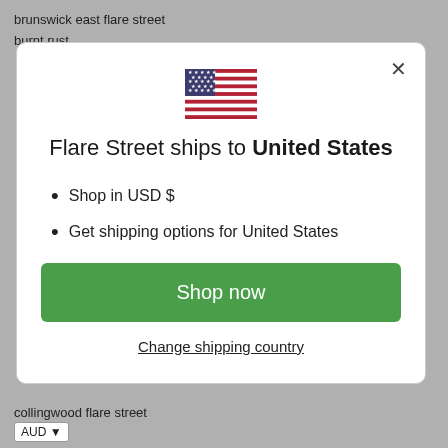brunswick east flare street
burnt rust
[Figure (screenshot): Modal dialog showing US flag and shipping information for Flare Street]
Flare Street ships to United States
Shop in USD $
Get shipping options for United States
Shop now
Change shipping country
collingwood flare street
AUD